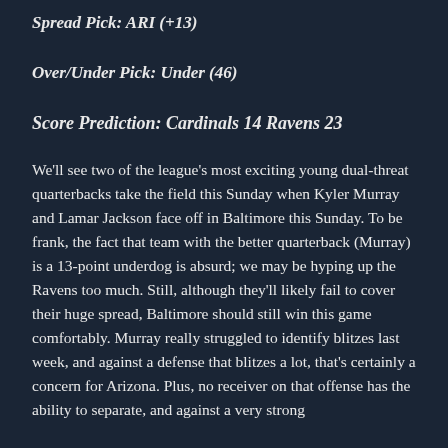Spread Pick: ARI (+13)
Over/Under Pick: Under (46)
Score Prediction: Cardinals 14 Ravens 23
We'll see two of the league's most exciting young dual-threat quarterbacks take the field this Sunday when Kyler Murray and Lamar Jackson face off in Baltimore this Sunday. To be frank, the fact that team with the better quarterback (Murray) is a 13-point underdog is absurd; we may be hyping up the Ravens too much. Still, although they'll likely fail to cover their huge spread, Baltimore should still win this game comfortably. Murray really struggled to identify blitzes last week, and against a defense that blitzes a lot, that's certainly a concern for Arizona. Plus, no receiver on that offense has the ability to separate, and against a very strong